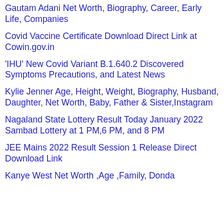Gautam Adani Net Worth, Biography, Career, Early Life, Companies
Covid Vaccine Certificate Download Direct Link at Cowin.gov.in
'IHU' New Covid Variant B.1.640.2 Discovered Symptoms Precautions, and Latest News
Kylie Jenner Age, Height, Weight, Biography, Husband, Daughter, Net Worth, Baby, Father & Sister,Instagram
Nagaland State Lottery Result Today January 2022 Sambad Lottery at 1 PM,6 PM, and 8 PM
JEE Mains 2022 Result Session 1 Release Direct Download Link
Kanye West Net Worth ,Age ,Family, Donda